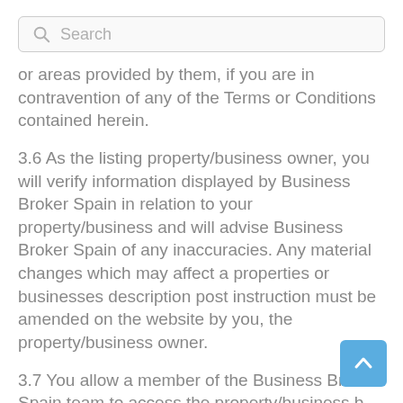[Figure (screenshot): Search bar with magnifying glass icon and placeholder text 'Search']
or areas provided by them, if you are in contravention of any of the Terms or Conditions contained herein.
3.6 As the listing property/business owner, you will verify information displayed by Business Broker Spain in relation to your property/business and will advise Business Broker Spain of any inaccuracies. Any material changes which may affect a properties or businesses description post instruction must be amended on the website by you, the property/business owner.
3.7 You allow a member of the Business Broker Spain team to access the property/business being listed in order to confirm the accuracy of the